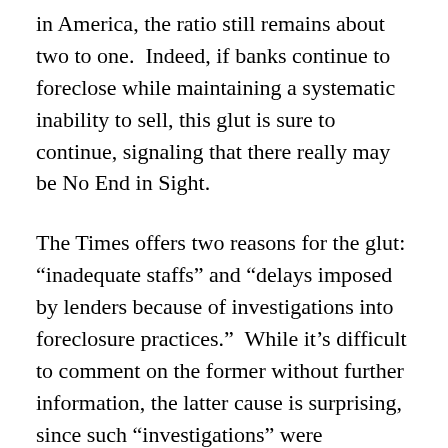in America, the ratio still remains about two to one.  Indeed, if banks continue to foreclose while maintaining a systematic inability to sell, this glut is sure to continue, signaling that there really may be No End in Sight.
The Times offers two reasons for the glut: “inadequate staffs” and “delays imposed by lenders because of investigations into foreclosure practices.”  While it’s difficult to comment on the former without further information, the latter cause is surprising, since such “investigations” were presumably initiated to assist foreclosure victims and therefore help families stay in their homes.  Of course, if these “investigations” were effective